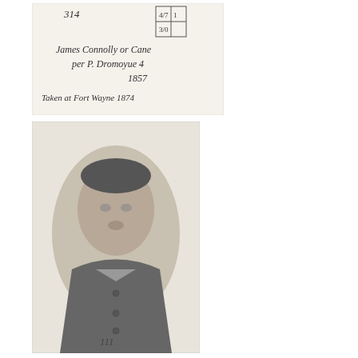[Figure (other): Handwritten document card with number 314, a small table with columns showing numbers 4/7/1 and 3/0, text reading 'James Connolly or Cane per P. Dromoyue 4 1857', and below 'Taken at Fort Wayne 1874']
[Figure (photo): Black and white portrait photograph of a middle-aged man with short hair, wearing a collared coat with buttons. The number 111 is written below the portrait on the card.]